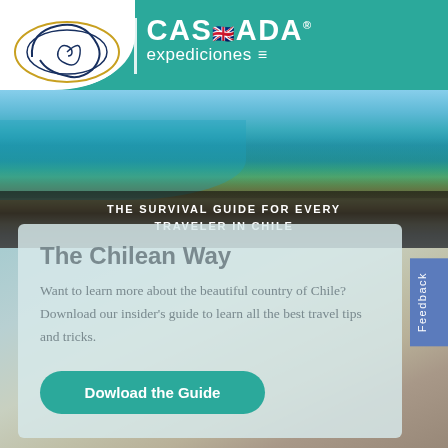[Figure (logo): Cascada Expediciones logo with spiral shell graphic, teal background, brand name CASCADA in large white letters and expediciones below, with UK flag icon and hamburger menu]
[Figure (photo): Landscape photo of Chilean Patagonia with turquoise lake and mountains, with dark banner overlay reading THE SURVIVAL GUIDE FOR EVERY TRAVELER IN CHILE]
The Chilean Way
Want to learn more about the beautiful country of Chile? Download our insider's guide to learn all the best travel tips and tricks.
Dowload the Guide